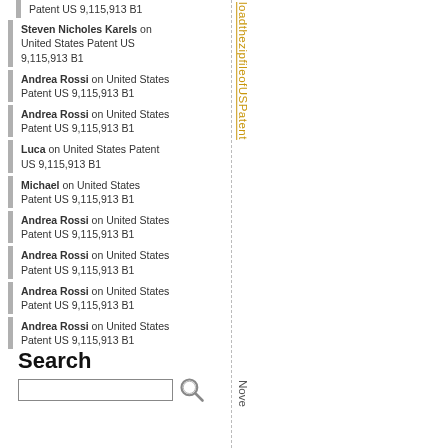Patent US 9,115,913 B1
Steven Nicholes Karels on United States Patent US 9,115,913 B1
Andrea Rossi on United States Patent US 9,115,913 B1
Andrea Rossi on United States Patent US 9,115,913 B1
Luca on United States Patent US 9,115,913 B1
Michael on United States Patent US 9,115,913 B1
Andrea Rossi on United States Patent US 9,115,913 B1
Andrea Rossi on United States Patent US 9,115,913 B1
Andrea Rossi on United States Patent US 9,115,913 B1
Andrea Rossi on United States Patent US 9,115,913 B1
Search
[Figure (other): Search input box with magnifying glass icon]
loadthezipfileofUSPatent November